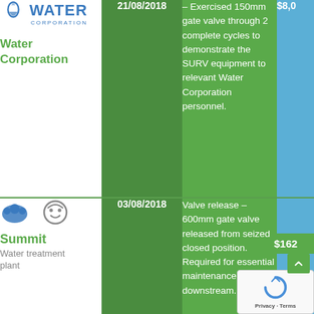| Organisation | Date | Description | Cost |
| --- | --- | --- | --- |
| Water Corporation | 21/08/2018 | – Exercised 150mm gate valve through 2 complete cycles to demonstrate the SURV equipment to relevant Water Corporation personnel. | $8,0... |
| Summit Water treatment plant | 03/08/2018 | Valve release – 600mm gate valve released from seized closed position. Required for essential maintenance, downstream. | $162... |